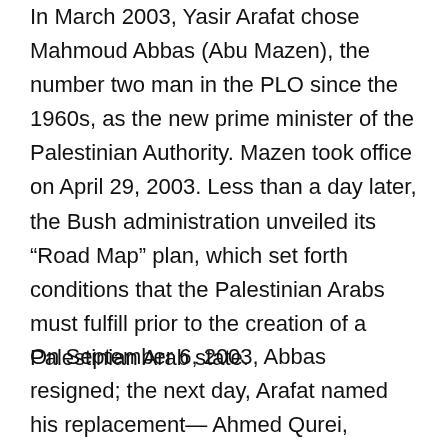In March 2003, Yasir Arafat chose Mahmoud Abbas (Abu Mazen), the number two man in the PLO since the 1960s, as the new prime minister of the Palestinian Authority. Mazen took office on April 29, 2003. Less than a day later, the Bush administration unveiled its “Road Map” plan, which set forth conditions that the Palestinian Arabs must fulfill prior to the creation of a Palestinian Arab state.
On September 6, 2003, Abbas resigned; the next day, Arafat named his replacement— Ahmed Qurei, speaker of the PA Legislative Council, who also